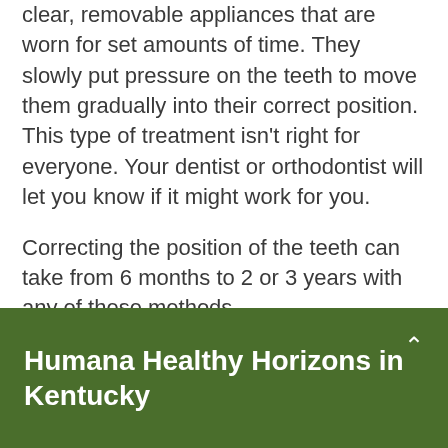clear, removable appliances that are worn for set amounts of time. They slowly put pressure on the teeth to move them gradually into their correct position. This type of treatment isn't right for everyone. Your dentist or orthodontist will let you know if it might work for you.
Correcting the position of the teeth can take from 6 months to 2 or 3 years with any of these methods.
Patients must come for regular visits, usually once every month or two. During the visits, the orthodontist attaches wires, springs, or elastic bands to the braces to add more tension and
Humana Healthy Horizons in Kentucky